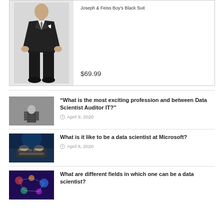[Figure (other): Product card showing a Joseph & Feiss Boy's Black Suit with a person wearing it, priced at $69.99]
Joseph & Feiss Boy's Black Suit
$69.99
“What is the most exciting profession and between Data Scientist Auditor IT?”
April 9, 2020
What is it like to be a data scientist at Microsoft?
April 8, 2020
What are different fields in which one can be a data scientist?